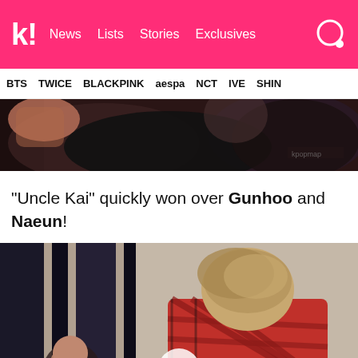k! News Lists Stories Exclusives [search]
BTS  TWICE  BLACKPINK  aespa  NCT  IVE  SHINee
[Figure (photo): Partial view of a person in dark clothing, appears to be raising their hand]
“Uncle Kai” quickly won over Gunhoo and Naeun!
[Figure (photo): A person with light brown/blonde hair wearing a red plaid shirt, seen from behind, with a child visible in front]